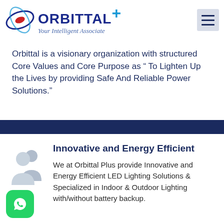[Figure (logo): Orbittal Plus logo with orbital icon and tagline 'Your Intelligent Associate']
Orbittal is a visionary organization with structured Core Values and Core Purpose as " To Lighten Up the Lives by providing Safe And Reliable Power Solutions."
Innovative and Energy Efficient
We at Orbittal Plus provide Innovative and Energy Efficient LED Lighting Solutions & Specialized in Indoor & Outdoor Lighting with/without battery backup.